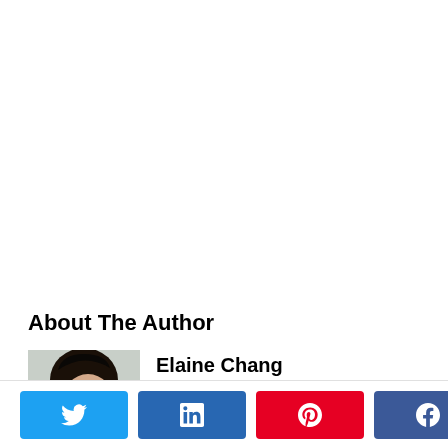About The Author
Elaine Chang
Elaine has held various leadership
[Figure (photo): Headshot photo of Elaine Chang, showing face and dark hair, partial profile view]
0 SHARES